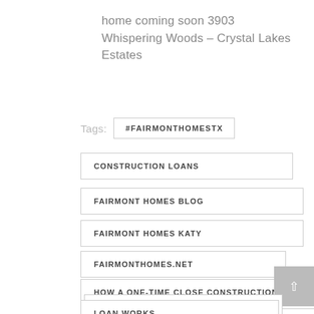home coming soon 3903 Whispering Woods – Crystal Lakes Estates
Tags: #FAIRMONTHOMESTX
CONSTRUCTION LOANS
FAIRMONT HOMES BLOG
FAIRMONT HOMES KATY
FAIRMONTHOMES.NET
HOW A ONE-TIME CLOSE CONSTRUCTION
LOAN WORKS
MICHAEL PELLETIER
ONE-TIME CLOSE CONSTRUCTION LOANS